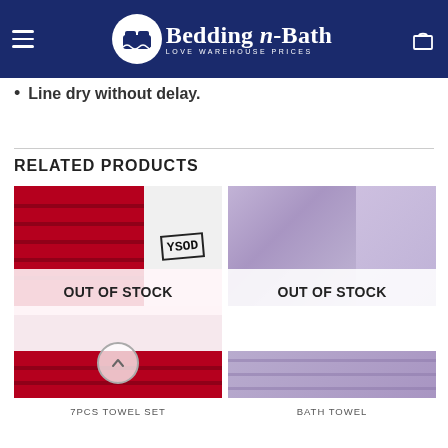Bedding n-Bath - LOVE WAREHOUSE PRICES
Line dry without delay.
RELATED PRODUCTS
[Figure (photo): Red towel set product image with OUT OF STOCK overlay]
7PCS TOWEL SET
[Figure (photo): Purple/lavender bath towel product image with OUT OF STOCK overlay]
BATH TOWEL